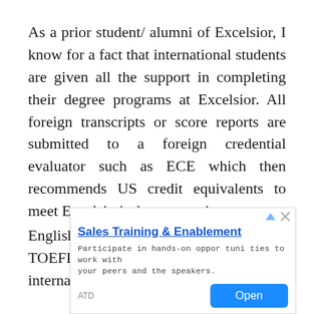As a prior student/ alumni of Excelsior, I know for a fact that international students are given all the support in completing their degree programs at Excelsior. All foreign transcripts or score reports are submitted to a foreign credential evaluator such as ECE which then recommends US credit equivalents to meet Excelsior's degree requirements.
English language proficiency with a TOEFL score is also required for international admissions. The
[Figure (other): Advertisement banner for 'Sales Training & Enablement' by ATD with an Open button, showing text: Participate in hands-on opportunities to work with your peers and the speakers.]